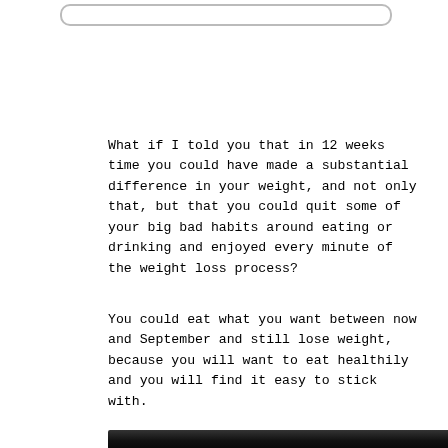What if I told you that in 12 weeks time you could have made a substantial difference in your weight, and not only that, but that you could quit some of your big bad habits around eating or drinking and enjoyed every minute of the weight loss process?
You could eat what you want between now and September and still lose weight, because you will want to eat healthily and you will find it easy to stick with.
[Figure (photo): A person wearing a black shirt, photo cropped to show torso area, bottom portion of the page]